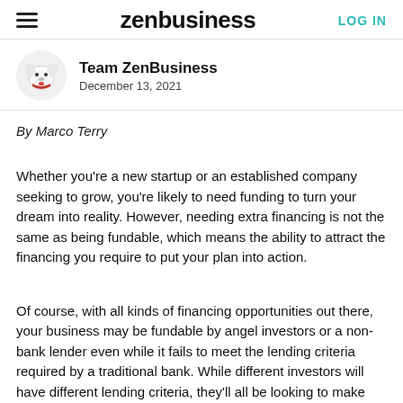zenbusiness | LOG IN
Team ZenBusiness
December 13, 2021
By Marco Terry
Whether you're a new startup or an established company seeking to grow, you're likely to need funding to turn your dream into reality. However, needing extra financing is not the same as being fundable, which means the ability to attract the financing you require to put your plan into action.
Of course, with all kinds of financing opportunities out there, your business may be fundable by angel investors or a non-bank lender even while it fails to meet the lending criteria required by a traditional bank. While different investors will have different lending criteria, they'll all be looking to make good on their investment. Here are three important points to consider when